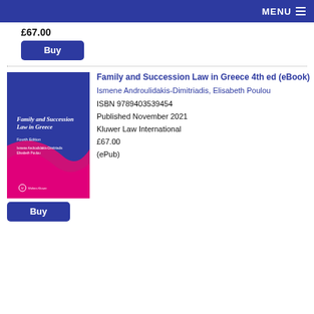MENU
£67.00
Buy
[Figure (illustration): Book cover of Family and Succession Law in Greece 4th edition, blue and magenta cover with white title text, published by Wolters Kluwer]
Family and Succession Law in Greece 4th ed (eBook)
Ismene Androulidakis-Dimitriadis, Elisabeth Poulou
ISBN 9789403539454
Published November 2021
Kluwer Law International
£67.00
(ePub)
Buy